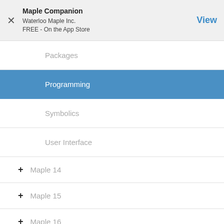Maple Companion
Waterloo Maple Inc.
FREE - On the App Store
Packages
Programming
Symbolics
User Interface
+ Maple 14
+ Maple 15
+ Maple 16
+ Maple 17
+ Maple 18